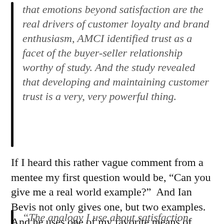that emotions beyond satisfaction are the real drivers of customer loyalty and brand enthusiasm, AMCI identified trust as a facet of the buyer-seller relationship worthy of study. And the study revealed that developing and maintaining customer trust is a very, very powerful thing.
If I heard this rather vague comment from a mentee my first question would be, “Can you give me a real world example?”  And Ian Bevis not only gives one, but two examples. And he uses one of my favorite means of helping an audience understand a new concept, analogies:
“The analogy I use about satisfaction